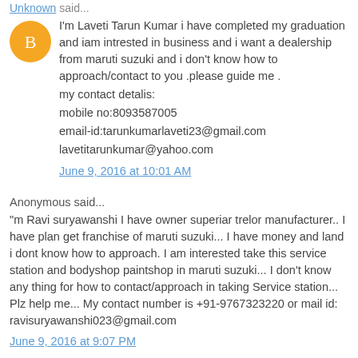Unknown said...
I'm Laveti Tarun Kumar i have completed my graduation and iam intrested in business and i want a dealership from maruti suzuki and i don't know how to approach/contact to you .please guide me .
my contact detalis:
mobile no:8093587005
email-id:tarunkumarlaveti23@gmail.com
lavetitarunkumar@yahoo.com
June 9, 2016 at 10:01 AM
Anonymous said...
"m Ravi suryawanshi I have owner superiar trelor manufacturer.. I have plan get franchise of maruti suzuki... I have money and land i dont know how to approach. I am interested take this service station and bodyshop paintshop in maruti suzuki... I don't know any thing for how to contact/approach in taking Service station... Plz help me... My contact number is +91-9767323220 or mail id: ravisuryawanshi023@gmail.com
June 9, 2016 at 9:07 PM
Unknown said...